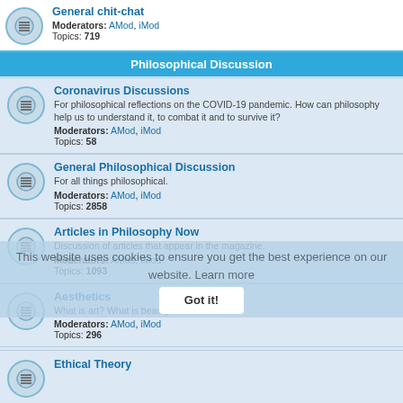General chit-chat
Moderators: AMod, iMod
Topics: 719
Philosophical Discussion
Coronavirus Discussions
For philosophical reflections on the COVID-19 pandemic. How can philosophy help us to understand it, to combat it and to survive it?
Moderators: AMod, iMod
Topics: 58
General Philosophical Discussion
For all things philosophical.
Moderators: AMod, iMod
Topics: 2858
Articles in Philosophy Now
Discussion of articles that appear in the magazine.
Moderators: AMod, iMod
Topics: 1093
Aesthetics
What is art? What is beauty?
Moderators: AMod, iMod
Topics: 296
Applied Ethics
Abortion, euthanasia, genetic engineering, Just War theory and other such hot topics.
Moderators: AMod, iMod
Topics: 634
Ethical Theory